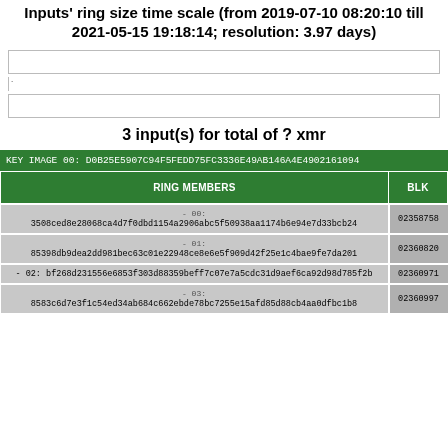Inputs' ring size time scale (from 2019-07-10 08:20:10 till 2021-05-15 19:18:14; resolution: 3.97 days)
[Figure (other): Three horizontal chart/timeline placeholder boxes showing ring size time scale visualization]
3 input(s) for total of ? xmr
| RING MEMBERS | BLK |
| --- | --- |
| -00: 3508ced8e28068ca4d7f0dbd1154a2906abc5f50938aa1174b6e94e7d33bcb24 | 02358758 |
| -01: 85398db9dea2dd981bec63c01e22948ce8e6e5f909d42f25e1c4bae9fe7da201 | 02360820 |
| -02: bf268d231556e6853f303d88359beff7c07e7a5cdc31d9aef6ca92d98d785f2b | 02360971 |
| -03: 8583c6d7e3f1c54ed34ab684c662ebde78bc7255e15afd85d88cb4aa0dfbc1b8 | 02360997 |